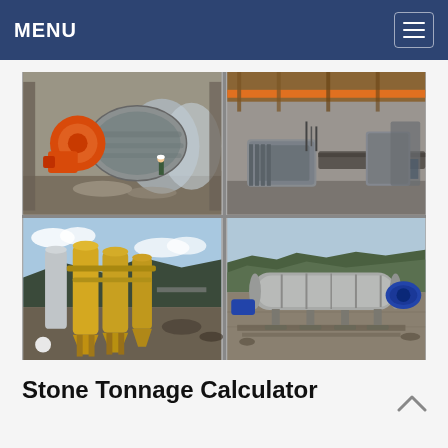MENU
[Figure (photo): Four-panel photo collage of mining/milling equipment: top-left shows a large ball mill with orange drive mechanism and worker for scale inside an industrial building; top-right shows industrial conveyors and motors in a covered facility; bottom-left shows yellow cyclone separator/classifier units outdoors with mountains in background; bottom-right shows a horizontal rotating drum/trommel on a rocky outdoor site with forested hills.]
Stone Tonnage Calculator